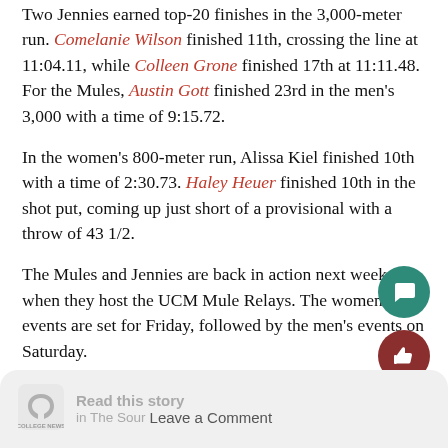Two Jennies earned top-20 finishes in the 3,000-meter run. Comelanie Wilson finished 11th, crossing the line at 11:04.11, while Colleen Grone finished 17th at 11:11.48. For the Mules, Austin Gott finished 23rd in the men's 3,000 with a time of 9:15.72.
In the women's 800-meter run, Alissa Kiel finished 10th with a time of 2:30.73. Haley Heuer finished 10th in the shot put, coming up just short of a provisional with a throw of 43 1/2.
The Mules and Jennies are back in action next week, when they host the UCM Mule Relays. The women's events are set for Friday, followed by the men's events on Saturday.
Read this story in The Source | Leave a Comment